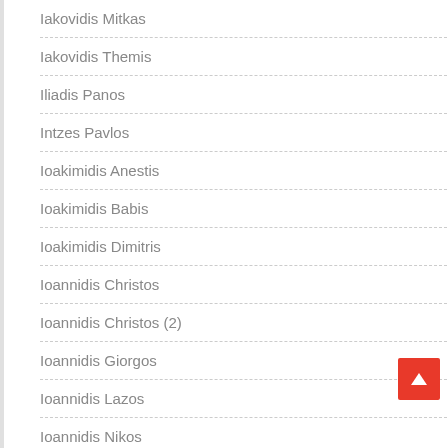Iakovidis Mitkas
Iakovidis Themis
Iliadis Panos
Intzes Pavlos
Ioakimidis Anestis
Ioakimidis Babis
Ioakimidis Dimitris
Ioannidis Christos
Ioannidis Christos (2)
Ioannidis Giorgos
Ioannidis Lazos
Ioannidis Nikos
Ioannidis Stelios